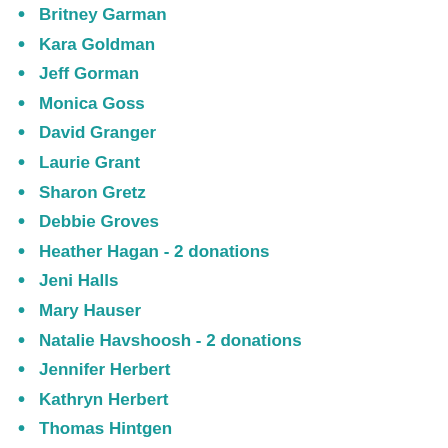Britney Garman
Kara Goldman
Jeff Gorman
Monica Goss
David Granger
Laurie Grant
Sharon Gretz
Debbie Groves
Heather Hagan - 2 donations
Jeni Halls
Mary Hauser
Natalie Havshoosh - 2 donations
Jennifer Herbert
Kathryn Herbert
Thomas Hintgen
Tiffany Roberts Hiner
David Hollar
Allison Hughes
Mary Huston
Christina Ibarra
David Irwin
Lynndee Jacobson
Cynthia James
Christine Johnson